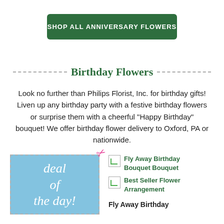SHOP ALL ANNIVERSARY FLOWERS
Birthday Flowers
Look no further than Philips Florist, Inc. for birthday gifts! Liven up any birthday party with a festive birthday flowers or surprise them with a cheerful "Happy Birthday" bouquet! We offer birthday flower delivery to Oxford, PA or nationwide.
[Figure (illustration): Deal of the day promotional box with dashed border, light blue background, cursive white text reading 'deal of the day!' and pink scissors graphic in the top right corner.]
Fly Away Birthday Bouquet Bouquet
Best Seller Flower Arrangement
Fly Away Birthday